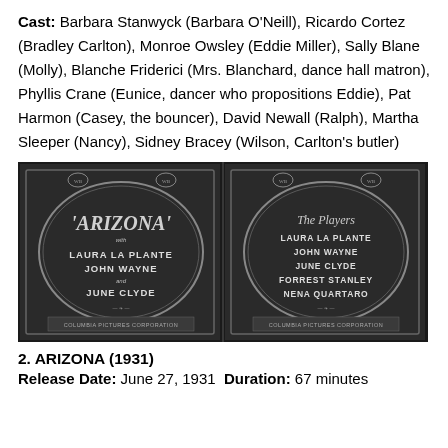Cast: Barbara Stanwyck (Barbara O'Neill), Ricardo Cortez (Bradley Carlton), Monroe Owsley (Eddie Miller), Sally Blane (Molly), Blanche Friderici (Mrs. Blanchard, dance hall matron), Phyllis Crane (Eunice, dancer who propositions Eddie), Pat Harmon (Casey, the bouncer), David Newall (Ralph), Martha Sleeper (Nancy), Sidney Bracey (Wilson, Carlton's butler)
[Figure (photo): Two black-and-white film title cards side by side. Left card shows 'ARIZONA with LAURA LA PLANTE JOHN WAYNE and JUNE CLYDE' with ornate oval border and 'Columbia Pictures Corporation' at bottom. Right card shows 'The Players LAURA LA PLANTE JOHN WAYNE JUNE CLYDE FORREST STANLEY NENA QUARTARO' with ornate oval border and 'Columbia Pictures Corporation' at bottom.]
2. ARIZONA (1931)
Release Date: June 27, 1931  Duration: 67 minutes